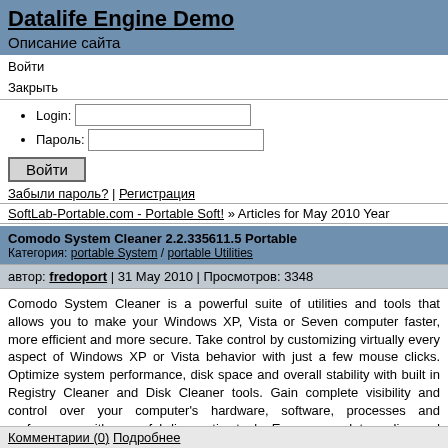Datalife Engine Demo
Описание сайта
Войти
Закрыть
Login: [input field]
Пароль: [input field]
Войти [button]
Забыли пароль? | Регистрация
SoftLab-Portable.com - Portable Soft! » Articles for May 2010 Year
Comodo System Cleaner 2.2.335611.5 Portable
Категория: portable System / portable Utilities
автор: fredoport | 31 May 2010 | Просмотров: 3348
Comodo System Cleaner is a powerful suite of utilities and tools that allows you to make your Windows XP, Vista or Seven computer faster, more efficient and more secure. Take control by customizing virtually every aspect of Windows XP or Vista behavior with just a few mouse clicks. Optimize system performance, disk space and overall stability with built in Registry Cleaner and Disk Cleaner tools. Gain complete visibility and control over your computer's hardware, software, processes and performance with powerful diagnostics tools. Ensure complete on-line and off-line privacy by clearing the history, cache and temp files of Internet browsers, Instant Messengers and Windows applications. 100% Safe Cleaning - Unique 'Registry Protection' and 'Safe Delete' features automatically roll back your system if important files were deleted in error
Комментарии (0) Подробнее